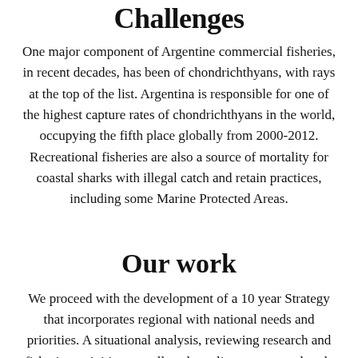Challenges
One major component of Argentine commercial fisheries, in recent decades, has been of chondrichthyans, with rays at the top of the list. Argentina is responsible for one of the highest capture rates of chondrichthyans in the world, occupying the fifth place globally from 2000-2012. Recreational fisheries are also a source of mortality for coastal sharks with illegal catch and retain practices, including some Marine Protected Areas.
Our work
We proceed with the development of a 10 year Strategy that incorporates regional with national needs and priorities. A situational analysis, reviewing research and fisheries activities as well as the policy context and tools available in the region, is undertaken to develop a database of current status